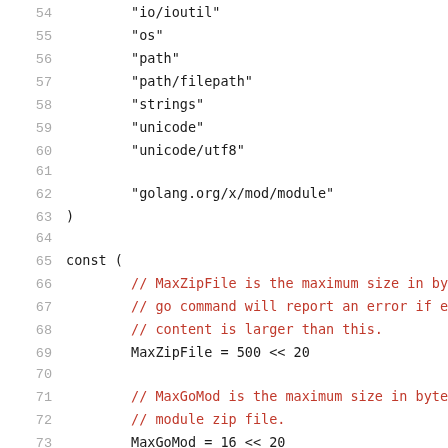Source code listing lines 54-75, showing Go import strings and const block with MaxZipFile, MaxGoMod constants.